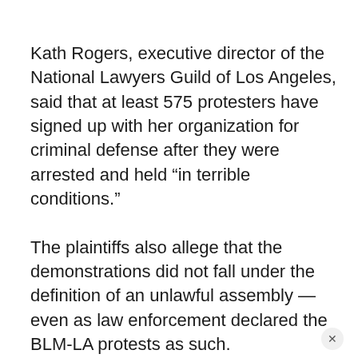Kath Rogers, executive director of the National Lawyers Guild of Los Angeles, said that at least 575 protesters have signed up with her organization for criminal defense after they were arrested and held “in terrible conditions.”
The plaintiffs also allege that the demonstrations did not fall under the definition of an unlawful assembly — even as law enforcement declared the BLM-LA protests as such.